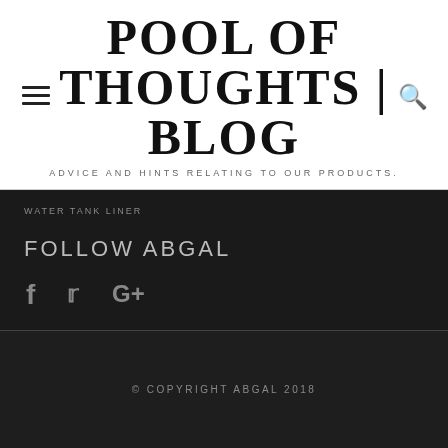POOL OF THOUGHTS | BLOG
ADVICE AND HINTS RELATING TO OUR PRODUCTS.
WATER TANK LINER
FOLLOW ABGAL
f  ✦  G+
© COPYRIGHT ABGAL 2018